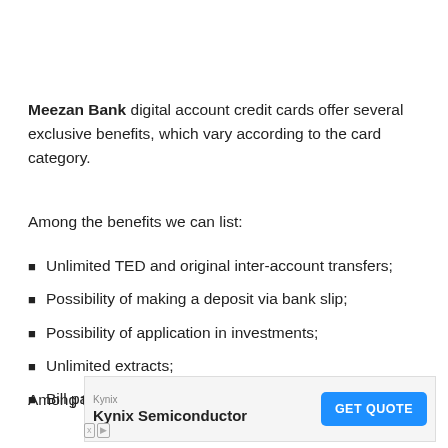Meezan Bank digital account credit cards offer several exclusive benefits, which vary according to the card category.
Among the benefits we can list:
Unlimited TED and original inter-account transfers;
Possibility of making a deposit via bank slip;
Possibility of application in investments;
Unlimited extracts;
Bill payment;
Among the negative points, we can highlight:
[Figure (other): Advertisement banner for Kynix Semiconductor with GET QUOTE button]